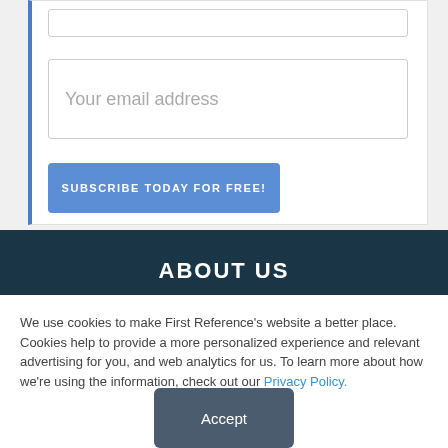Your email address
SUBSCRIBE TODAY FOR FREE!
ABOUT US
We use cookies to make First Reference's website a better place. Cookies help to provide a more personalized experience and relevant advertising for you, and web analytics for us. To learn more about how we're using the information, check out our Privacy Policy.
Accept